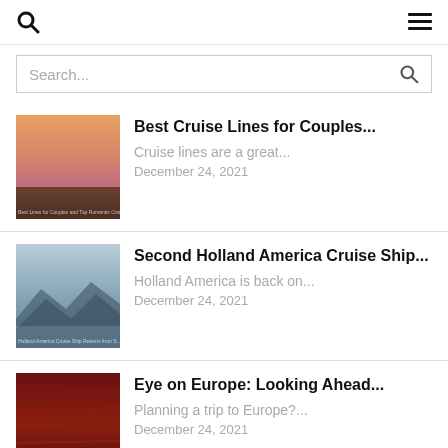Search icon | Hamburger menu
Search...
[Figure (illustration): Thumbnail for Best Cruise Lines for Couples article, warm orange and pink gradient sunset sky with brown landscape band at bottom]
Best Cruise Lines for Couples...
Cruise lines are a great...
December 24, 2021
[Figure (illustration): Thumbnail for Second Holland America Cruise Ship article, misty blue mountains and calm water landscape]
Second Holland America Cruise Ship...
Holland America is back on...
December 24, 2021
[Figure (illustration): Thumbnail for Eye on Europe article, dark red textured background]
Eye on Europe: Looking Ahead...
Planning a trip to Europe?...
December 24, 2021